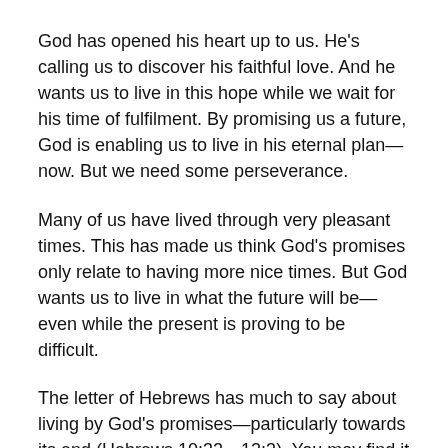God has opened his heart up to us. He's calling us to discover his faithful love. And he wants us to live in this hope while we wait for his time of fulfilment. By promising us a future, God is enabling us to live in his eternal plan—now. But we need some perseverance.
Many of us have lived through very pleasant times. This has made us think God's promises only relate to having more nice times. But God wants us to live in what the future will be—even while the present is proving to be difficult.
The letter of Hebrews has much to say about living by God's promises—particularly towards its end (Hebrews 10:32—12:3). You may find it helpful to read this passage first. There's five points that it makes clear. This makes my article longer than usual—but I hope, worthwhile.